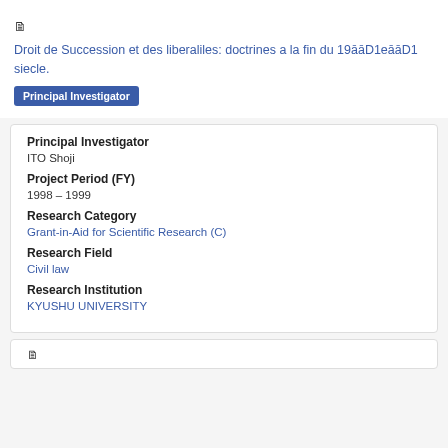Droit de Succession et des liberaliles: doctrines a la fin du 19🔲🔲D1e🔲🔲D1 siecle.
Principal Investigator
ITO Shoji
Project Period (FY)
1998 – 1999
Research Category
Grant-in-Aid for Scientific Research (C)
Research Field
Civil law
Research Institution
KYUSHU UNIVERSITY